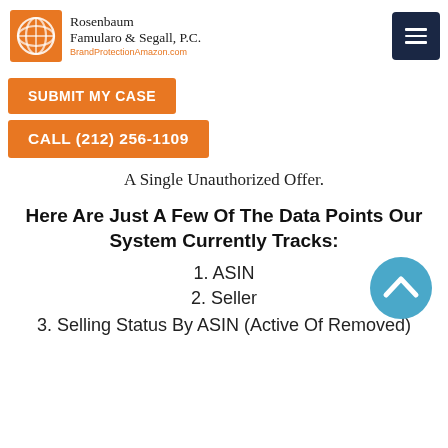Rosenbaum Famularo & Segall, P.C. BrandProtectionAmazon.com
SUBMIT MY CASE
CALL (212) 256-1109
A Single Unauthorized Offer.
Here Are Just A Few Of The Data Points Our System Currently Tracks:
1. ASIN
2. Seller
3. Selling Status By ASIN (Active Of Removed)